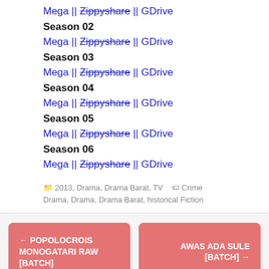Mega || Zippyshare || GDrive
Season 02
Mega || Zippyshare || GDrive
Season 03
Mega || Zippyshare || GDrive
Season 04
Mega || Zippyshare || GDrive
Season 05
Mega || Zippyshare || GDrive
Season 06
Mega || Zippyshare || GDrive
2013, Drama, Drama Barat, TV  Crime Drama, Drama, Drama Barat, historical Fiction
← POPOLOCROIS MONOGATARI RAW [BATCH]
AWAS ADA SULE [BATCH] →